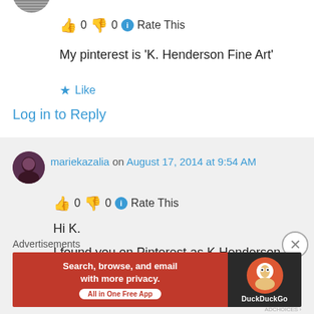[Figure (illustration): Partial view of a user avatar (top portion) with what appears to be a circular icon]
👍 0 👎 0 ℹ Rate This
My pinterest is 'K. Henderson Fine Art'
★ Like
Log in to Reply
[Figure (illustration): User avatar for mariekazalia - circular portrait photo]
mariekazalia on August 17, 2014 at 9:54 AM
👍 0 👎 0 ℹ Rate This
Hi K.
I found you on Pinterest as K Henderson
Advertisements
[Figure (other): DuckDuckGo advertisement banner: Search, browse, and email with more privacy. All in One Free App. DuckDuckGo logo on dark background.]